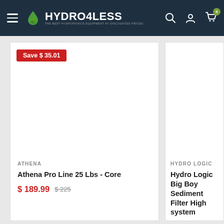HYDRO4LESS - THE BEST HYDROPONICS EQUIPMENT AT DISCOUNTED PRICES
[Figure (screenshot): Product card for Athena Pro Line 25 Lbs - Core with Save $35.01 badge, white product image area, brand ATHENA, sale price $189.99 original price $225]
[Figure (screenshot): Partial product card for Hydro Logic Big Boy Sediment Filter High system, brand HYDRO LOGIC, partially visible on right edge]